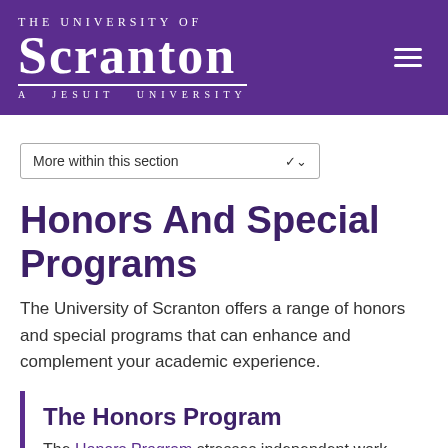THE UNIVERSITY OF SCRANTON A JESUIT UNIVERSITY
[Figure (logo): The University of Scranton logo with 'THE UNIVERSITY OF' in small caps, 'SCRANTON' in large serif font, and 'A JESUIT UNIVERSITY' in small caps below, all in white on purple background]
More within this section
Honors And Special Programs
The University of Scranton offers a range of honors and special programs that can enhance and complement your academic experience.
The Honors Program
The Honors Program stresses independent work, giving